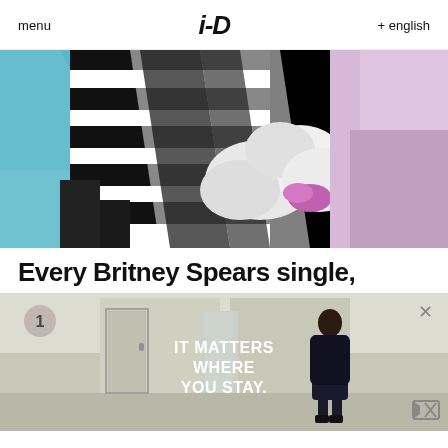menu   i-D   + english
[Figure (photo): Close-up photograph showing hands holding a white fluffy object with a purple/pink element, with a black-and-white striped fabric and blue tissue paper visible]
Every Britney Spears single,
[Figure (screenshot): Advertisement overlay showing a person in a hotel room with text 'IT MATTERS WHERE YOU STAY.' and a number 1 badge, close button X, and mute icon]